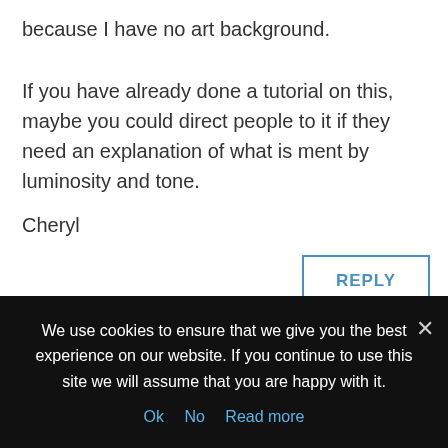because I have no art background.
If you have already done a tutorial on this, maybe you could direct people to it if they need an explanation of what is ment by luminosity and tone.
Cheryl
REPLY
Blake Rudis on April 9, 2017 at 9:30 pm
We use cookies to ensure that we give you the best experience on our website. If you continue to use this site we will assume that you are happy with it.
Ok   No   Read more